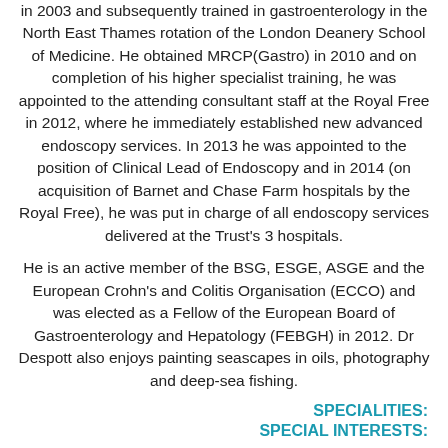in 2003 and subsequently trained in gastroenterology in the North East Thames rotation of the London Deanery School of Medicine. He obtained MRCP(Gastro) in 2010 and on completion of his higher specialist training, he was appointed to the attending consultant staff at the Royal Free in 2012, where he immediately established new advanced endoscopy services. In 2013 he was appointed to the position of Clinical Lead of Endoscopy and in 2014 (on acquisition of Barnet and Chase Farm hospitals by the Royal Free), he was put in charge of all endoscopy services delivered at the Trust's 3 hospitals.
He is an active member of the BSG, ESGE, ASGE and the European Crohn's and Colitis Organisation (ECCO) and was elected as a Fellow of the European Board of Gastroenterology and Hepatology (FEBGH) in 2012. Dr Despott also enjoys painting seascapes in oils, photography and deep-sea fishing.
SPECIALITIES:
SPECIAL INTERESTS:
Dr Edward J Despott is the trust-wide clinical lead of endoscopy services at the Royal Free unit for endoscopy